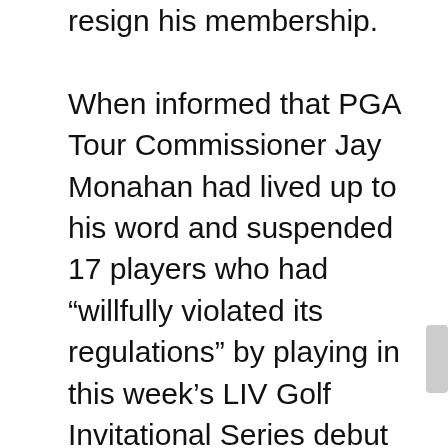resign his membership.

When informed that PGA Tour Commissioner Jay Monahan had lived up to his word and suspended 17 players who had “willfully violated its regulations” by playing in this week’s LIV Golf Invitational Series debut near London, Poulter told the media, “I will appeal, for sure. It makes no sense given how I have played the game of golf for all this time. I didn’t resign my membership because I don’t feel I have done anything wrong. I have played all over the world for 25 years. This is no different.

“I am committed to playing around the world like I have done for so many years so it is a shame if they view this as different. Of